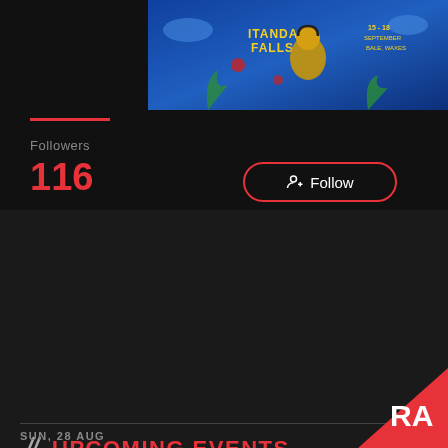[Figure (photo): Itanda Falls festival banner with colorful psychedelic artwork showing a golden figure with headphones, festival name 'ITANDA FALLS' and dates '15-18 SEPTEMBER BALE, WAXES']
Followers
116
Follow
UPCOMING EVENTS
WED, 17 AUG
Waking Life 2022
100hz, A. Brehme, Abelle, Adi (CO), Aleksi Perälä, Alex Downey, Amir Alexander, Analog Soul, Andrew Ashong,
Other regions  Crato
SUN, 28 AUG